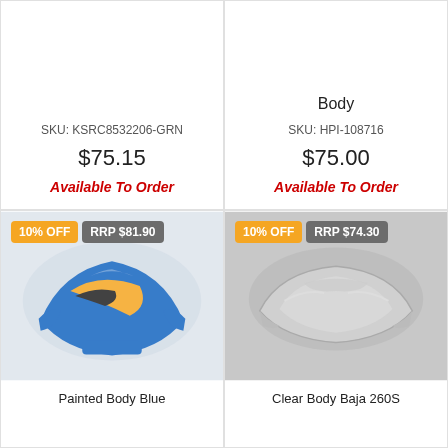SKU: KSRC8532206-GRN
$75.15
Available To Order
SKU: HPI-108716
Body
$75.00
Available To Order
10% OFF
RRP $81.90
[Figure (photo): Blue painted RC car body shell with orange and black design markings]
Painted Body Blue
10% OFF
RRP $74.30
[Figure (photo): Clear unpainted RC car body shell for Baja 260S]
Clear Body Baja 260S